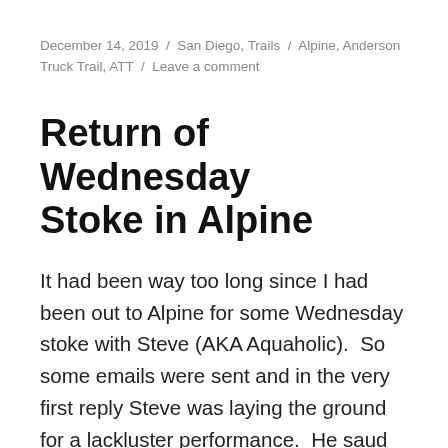December 14, 2019 / San Diego, Trails / Alpine, Anderson Truck Trail, ATT / Leave a comment
Return of Wednesday Stoke in Alpine
It had been way too long since I had been out to Alpine for some Wednesday stoke with Steve (AKA Aquaholic).  So some emails were sent and in the very first reply Steve was laying the ground for a lackluster performance.  He saud he has been doing nothing but working on stupid human tricks on his Jet Ski and has not been on the bike in five weeks.